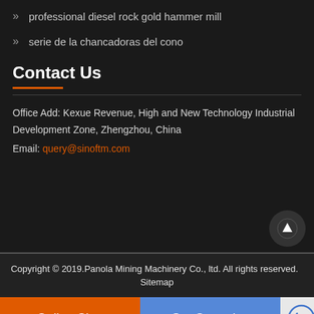professional diesel rock gold hammer mill
serie de la chancadoras del cono
Contact Us
Office Add: Kexue Revenue, High and New Technology Industrial Development Zone, Zhengzhou, China
Email: query@sinoftm.com
Copyright © 2019.Panola Mining Machinery Co., ltd. All rights reserved.  Sitemap